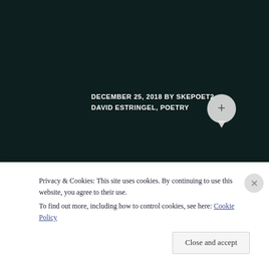DECEMBER 25, 2018 BY SKEPOET2
DAVID ESTRINGEL, POETRY
[Figure (other): Comment bubble icon with + symbol]
[Figure (other): Left navigation arrow circle button]
[Figure (other): Right navigation arrow circle button]
Privacy & Cookies: This site uses cookies. By continuing to use this website, you agree to their use.
To find out more, including how to control cookies, see here: Cookie Policy
Close and accept